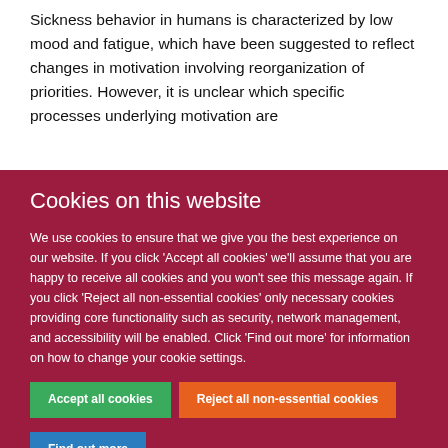Sickness behavior in humans is characterized by low mood and fatigue, which have been suggested to reflect changes in motivation involving reorganization of priorities. However, it is unclear which specific processes underlying motivation are
Cookies on this website
We use cookies to ensure that we give you the best experience on our website. If you click 'Accept all cookies' we'll assume that you are happy to receive all cookies and you won't see this message again. If you click 'Reject all non-essential cookies' only necessary cookies providing core functionality such as security, network management, and accessibility will be enabled. Click 'Find out more' for information on how to change your cookie settings.